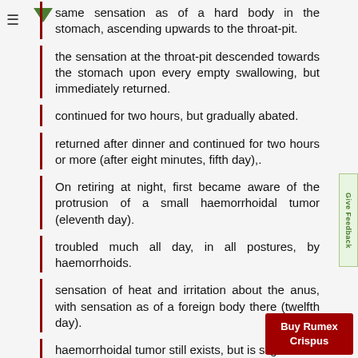same sensation as of a hard body in the stomach, ascending upwards to the throat-pit.
the sensation at the throat-pit descended towards the stomach upon every empty swallowing, but immediately returned.
continued for two hours, but gradually abated.
returned after dinner and continued for two hours or more (after eight minutes, fifth day),.
On retiring at night, first became aware of the protrusion of a small haemorrhoidal tumor (eleventh day).
troubled much all day, in all postures, by haemorrhoids.
sensation of heat and irritation about the anus, with sensation as of a foreign body there (twelfth day).
haemorrhoidal tumor still exists, but is slight.
itching of anus (fourteenth day).
great itching of anus (seventeenth day),.